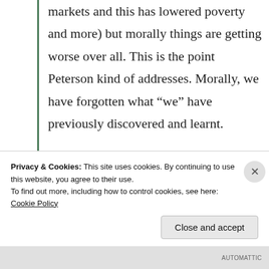markets and this has lowered poverty and more) but morally things are getting worse over all. This is the point Peterson kind of addresses. Morally, we have forgotten what “we” have previously discovered and learnt.

I don’t personally agree with the neomarxist/critical theorist idea that “culture is the oppressor” mainly
Privacy & Cookies: This site uses cookies. By continuing to use this website, you agree to their use.
To find out more, including how to control cookies, see here: Cookie Policy
Close and accept
AUTOMATTIC